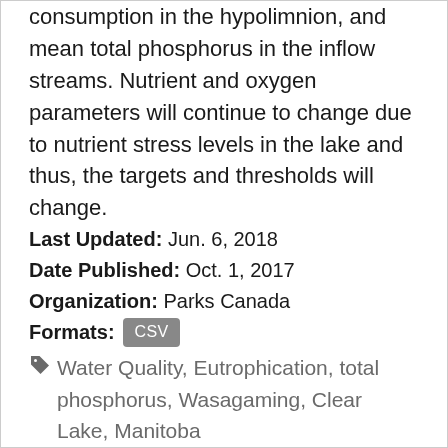consumption in the hypolimnion, and mean total phosphorus in the inflow streams. Nutrient and oxygen parameters will continue to change due to nutrient stress levels in the lake and thus, the targets and thresholds will change.
Last Updated: Jun. 6, 2018
Date Published: Oct. 1, 2017
Organization: Parks Canada
Formats: CSV
Water Quality, Eutrophication, total phosphorus, Wasagaming, Clear Lake, Manitoba